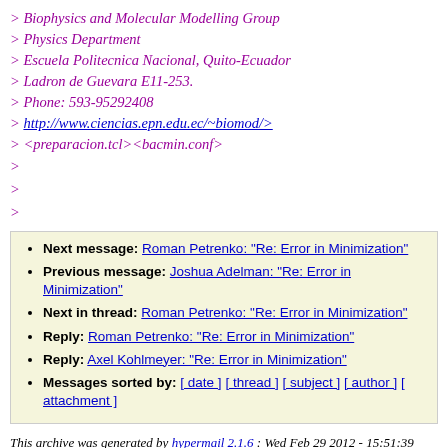> Biophysics and Molecular Modelling Group
> Physics Department
> Escuela Politecnica Nacional, Quito-Ecuador
> Ladron de Guevara E11-253.
> Phone: 593-95292408
> http://www.ciencias.epn.edu.ec/~biomod/>
> <preparacion.tcl><bacmin.conf>
>
>
>
Next message: Roman Petrenko: "Re: Error in Minimization"
Previous message: Joshua Adelman: "Re: Error in Minimization"
Next in thread: Roman Petrenko: "Re: Error in Minimization"
Reply: Roman Petrenko: "Re: Error in Minimization"
Reply: Axel Kohlmeyer: "Re: Error in Minimization"
Messages sorted by: [ date ] [ thread ] [ subject ] [ author ] [ attachment ]
This archive was generated by hypermail 2.1.6 : Wed Feb 29 2012 - 15:51:39 CST